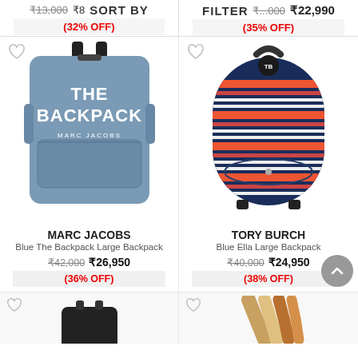₹13,000  ₹8... SORT BY | FILTER ₹...000  ₹22,990
(32% OFF) | (35% OFF)
[Figure (photo): Marc Jacobs blue canvas backpack with white text logo THE BACKPACK MARC JACOBS]
[Figure (photo): Tory Burch navy striped large backpack with leather top handle and logo medallion]
MARC JACOBS
Blue The Backpack Large Backpack
₹42,000  ₹26,950
(36% OFF)
TORY BURCH
Blue Ella Large Backpack
₹40,000  ₹24,950
(38% OFF)
[Figure (photo): Partial view of a black backpack at bottom left]
[Figure (photo): Partial view of brown/tan striped bag handles at bottom right]